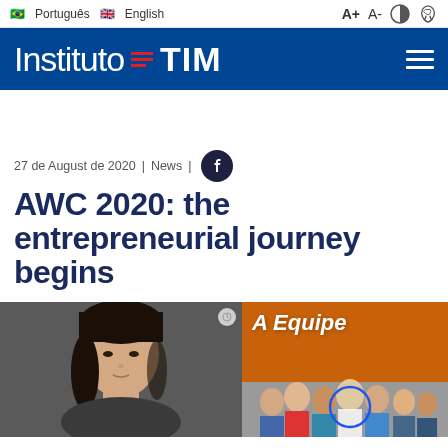🇧🇷 Português  🇬🇧 English   A+  A-
[Figure (logo): Instituto TIM logo with navigation bar on dark blue background]
27 de August de 2020 | News |
AWC 2020: the entrepreneurial journey begins
[Figure (photo): Two side-by-side photos: left shows a young woman with black hair against a dark background; right shows a group of people in a room with orange wall and text 'A Equipe' overlaid, with one person circled in blue]